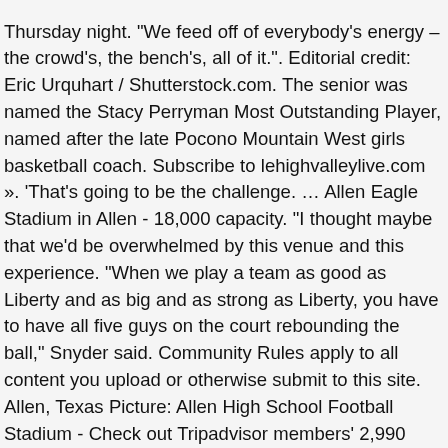Thursday night. "We feed off of everybody's energy – the crowd's, the bench's, all of it.". Editorial credit: Eric Urquhart / Shutterstock.com. The senior was named the Stacy Perryman Most Outstanding Player, named after the late Pocono Mountain West girls basketball coach. Subscribe to lehighvalleylive.com ». 'That's going to be the challenge. … Allen Eagle Stadium in Allen - 18,000 capacity. "I thought maybe that we'd be overwhelmed by this venue and this experience. "When we play a team as good as Liberty and as big and as strong as Liberty, you have to have all five guys on the court rebounding the ball," Snyder said. Community Rules apply to all content you upload or otherwise submit to this site. Allen, Texas Picture: Allen High School Football Stadium - Check out Tripadvisor members' 2,990 candid photos and videos of Allen Allen High School Baseball Search. Contribute Roster Schedule. Eagle Stadium is the largest one-school stadium in Texas. Here it is. Allen High School's boys basketball team turned the PPL Center into the Canary Cage on Thursday night. We did what we had to do and